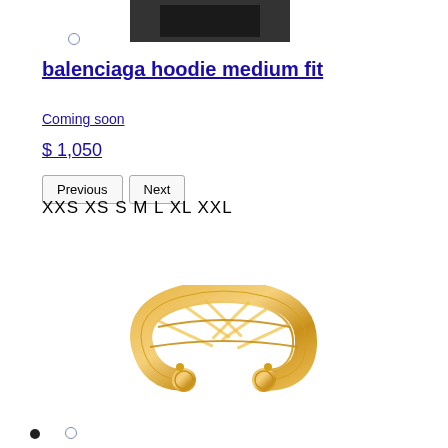[Figure (photo): Partial product image at top, dark colored hoodie background]
balenciaga hoodie medium fit
Coming soon
$ 1,050
Previous   Next
XXS XS S M L XL XXL
[Figure (photo): Gold open cuff ring with lattice/cutout pattern, Balenciaga style]